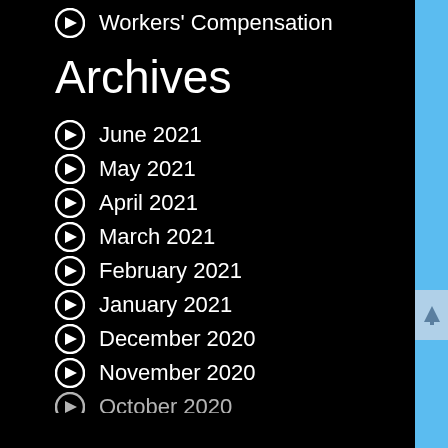Workers' Compensation
Archives
June 2021
May 2021
April 2021
March 2021
February 2021
January 2021
December 2020
November 2020
October 2020